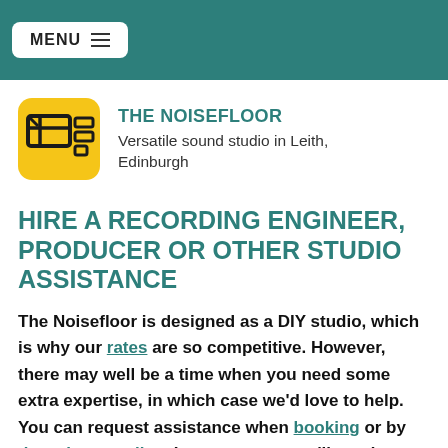MENU
[Figure (logo): The Noisefloor logo: yellow rounded square with stylized screen/monitor icon in dark color]
THE NOISEFLOOR
Versatile sound studio in Leith, Edinburgh
HIRE A RECORDING ENGINEER, PRODUCER OR OTHER STUDIO ASSISTANCE
The Noisefloor is designed as a DIY studio, which is why our rates are so competitive. However, there may well be a time when you need some extra expertise, in which case we'd love to help. You can request assistance when booking or by dropping us a line. In some cases we'll need to